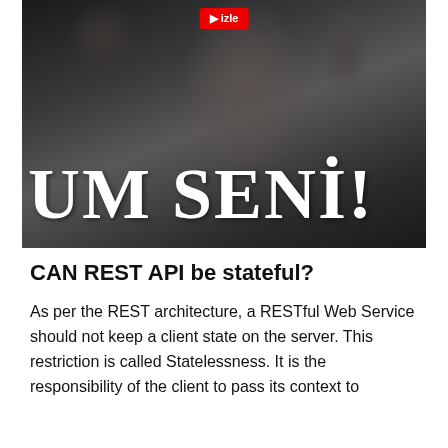[Figure (photo): Dark photograph of a person writing/working, with large white serif text overlay reading 'UM SENİ!' and a red badge/button visible at top center]
CAN REST API be stateful?
As per the REST architecture, a RESTful Web Service should not keep a client state on the server. This restriction is called Statelessness. It is the responsibility of the client to pass its context to